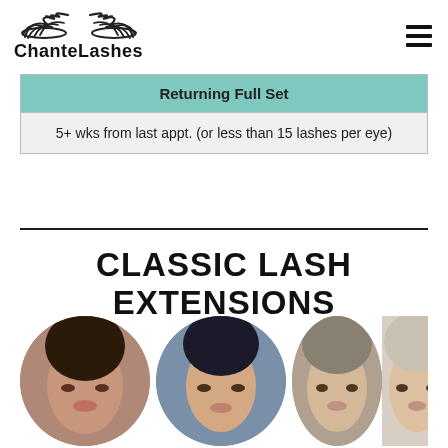[Figure (logo): ChanteLashes logo with eyelash illustrations above the brand name]
| Returning Full Set |
| --- |
| 5+ wks from last appt. (or less than 15 lashes per eye) |
CLASSIC LASH EXTENSIONS
[Figure (photo): Three circular before/after photos of women showing classic lash extension results]